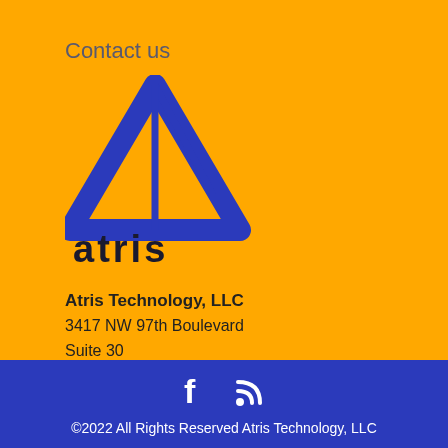Contact us
[Figure (logo): Atris Technology logo: blue triangle/letter A shape above the word 'atris' in dark blue lowercase letters on orange background]
Atris Technology, LLC
3417 NW 97th Boulevard
Suite 30
Gainesville FL 32606
(352) 331-3100 | (800) 393-1079
[Figure (other): Social media icons: Facebook 'f' icon and RSS feed icon, white on dark blue background]
©2022 All Rights Reserved Atris Technology, LLC